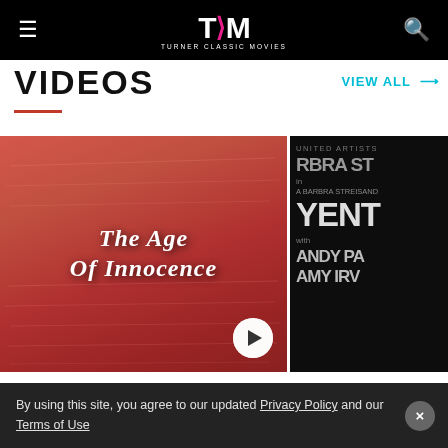TCM Turner Classic Movies
VIDEOS
VIEW ALL →
[Figure (photo): Thumbnail of The Age of Innocence movie title card with red/pink handwritten letter background and play button overlay]
[Figure (photo): Thumbnail of Yentl movie poster (United Artists) with Barbra Streisand, with cast names Andy Pa... and Amy Irv...]
By using this site, you agree to our updated Privacy Policy and our Terms of Use